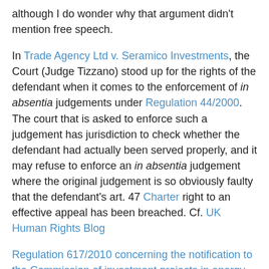although I do wonder why that argument didn't mention free speech.
In Trade Agency Ltd v. Seramico Investments, the Court (Judge Tizzano) stood up for the rights of the defendant when it comes to the enforcement of in absentia judgements under Regulation 44/2000. The court that is asked to enforce such a judgement has jurisdiction to check whether the defendant had actually been served properly, and it may refuse to enforce an in absentia judgement where the original judgement is so obviously faulty that the defendant's art. 47 Charter right to an effective appeal has been breached. Cf. UK Human Rights Blog
Regulation 617/2010 concerning the notification to the Commission of investment projects in energy infrastructure was enacted based on art. 337 TFEU (gathering information in general) and art. 187 Euratom (gathering information), but, according to the Court (Judge Ó Caoimh), the correct legal basis would have been art. 194 TFEU (energy). Somehow the latter is more "lex specialis" than the former. Parliament v. Council